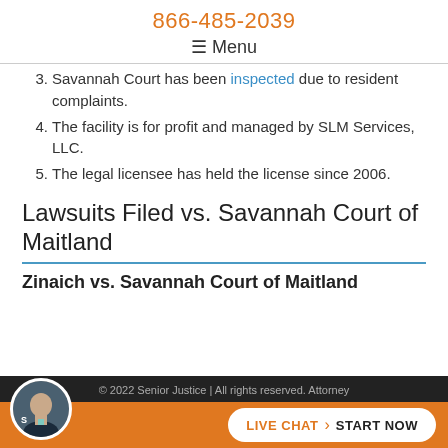866-485-2039
☰ Menu
3. Savannah Court has been inspected due to resident complaints.
4. The facility is for profit and managed by SLM Services, LLC.
5. The legal licensee has held the license since 2006.
Lawsuits Filed vs. Savannah Court of Maitland
Zinaich vs. Savannah Court of Maitland
© 2022 Senior Justice | All rights reserved. Attorney advertising...